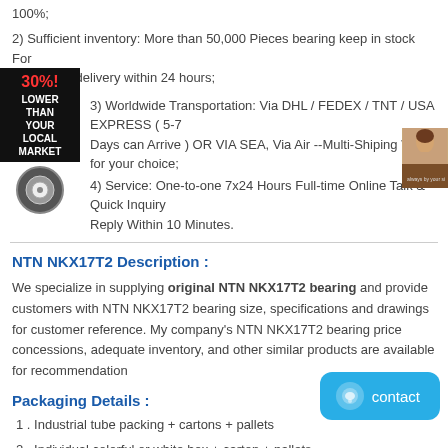100%;
2) Sufficient inventory: More than 50,000 Pieces bearing keep in stock For the fastest delivery within 24 hours;
3) Worldwide Transportation: Via DHL / FEDEX / TNT / USA EXPRESS ( 5-7 Days can Arrive ) OR VIA SEA, Via Air --Multi-Shiping Way for your choice;
4) Service: One-to-one 7x24 Hours Full-time Online Talk & Quick Inquiry Reply Within 10 Minutes.
[Figure (other): Promotional badge overlay showing '30% LOWER THAN YOUR LOCAL MARKET' with a circular bearing logo on black background]
[Figure (photo): Small photo of a woman with a headset on brown background]
NTN NKX17T2 Description :
We specialize in supplying original NTN NKX17T2 bearing and provide customers with NTN NKX17T2 bearing size, specifications and drawings for customer reference. My company's NTN NKX17T2 bearing price concessions, adequate inventory, and other similar products are available for recommendation
Packaging Details :
1 . Industrial tube packing + cartons + pallets
2 . Individual colorful or white box + carton + pallets
3 . As the clients ' requirement
[Figure (other): Blue contact button with chat icon and 'contact' text]